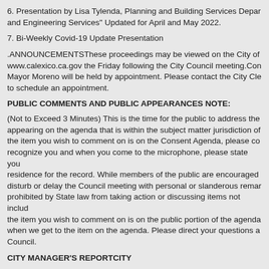6. Presentation by Lisa Tylenda, Planning and Building Services Depar... and Engineering Services" Updated for April and May 2022.
7. Bi-Weekly Covid-19 Update Presentation
.ANNOUNCEMENTSThese proceedings may be viewed on the City of www.calexico.ca.gov the Friday following the City Council meeting.Con Mayor Moreno will be held by appointment. Please contact the City Cle to schedule an appointment.
PUBLIC COMMENTS AND PUBLIC APPEARANCES NOTE:
(Not to Exceed 3 Minutes) This is the time for the public to address the appearing on the agenda that is within the subject matter jurisdiction of the item you wish to comment on is on the Consent Agenda, please co recognize you and when you come to the microphone, please state you residence for the record. While members of the public are encouraged disturb or delay the Council meeting with personal or slanderous remar prohibited by State law from taking action or discussing items not includ the item you wish to comment on is on the public portion of the agenda when we get to the item on the agenda. Please direct your questions a Council.
CITY MANAGER'S REPORTCITY
COUNCIL COMMENTS AND REPORTS OF MEETINGS ATTENDED
CONSENT AGENDA